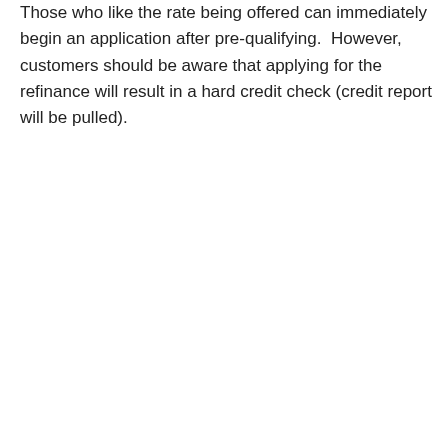Those who like the rate being offered can immediately begin an application after pre-qualifying.  However, customers should be aware that applying for the refinance will result in a hard credit check (credit report will be pulled).